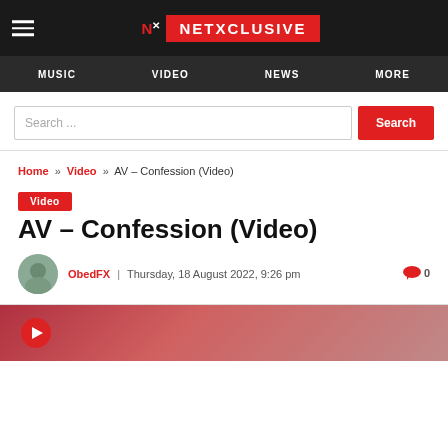NETXCLUSIVE
MUSIC  VIDEO  NEWS  MORE
Search ...
Home » Video » AV – Confession (Video)
Video
AV – Confession (Video)
ObedFX  |  Thursday, 18 August 2022, 9:26 pm   0
[Figure (screenshot): Video thumbnail showing a colorful scene with a play button icon at the bottom left]